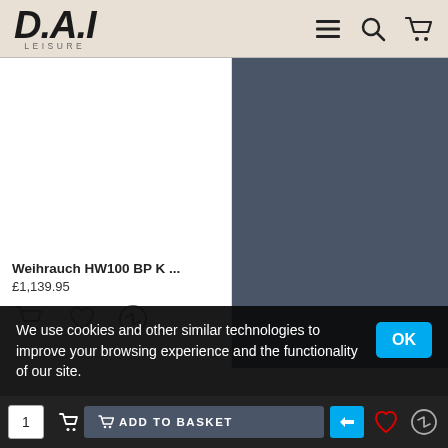D.A.I LEISURE
[Figure (screenshot): Product listing for Weihrauch HW100 BP K ... on D.A.I Leisure e-commerce site, showing product card with title and price £1,139.95, action icons, and dark blue panel on the right.]
Weihrauch HW100 BP K ...
£1,139.95
We use cookies and other similar technologies to improve your browsing experience and the functionality of our site.
Copyright © 2020 DAI Leisure (Trading) We Midlands Limited